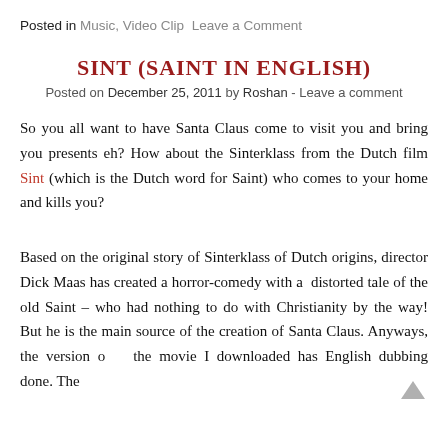Posted in Music, Video Clip  Leave a Comment
SINT (SAINT IN ENGLISH)
Posted on December 25, 2011 by Roshan - Leave a comment
So you all want to have Santa Claus come to visit you and bring you presents eh? How about the Sinterklass from the Dutch film Sint (which is the Dutch word for Saint) who comes to your home and kills you?
Based on the original story of Sinterklass of Dutch origins, director Dick Maas has created a horror-comedy with a  distorted tale of the old Saint – who had nothing to do with Christianity by the way! But he is the main source of the creation of Santa Claus. Anyways, the version of the movie I downloaded has English dubbing done. The